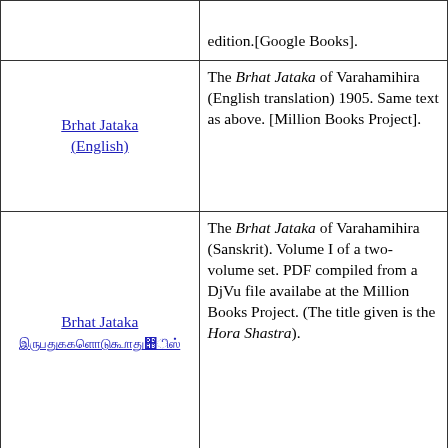| Source | Description |
| --- | --- |
|  | edition.[Google Books]. |
| Brhat Jataka (English) | The Brhat Jataka of Varahamihira (English translation) 1905. Same text as above. [Million Books Project]. |
| Brhat Jataka [Sanskrit text] | The Brhat Jataka of Varahamihira (Sanskrit). Volume I of a two-volume set. PDF compiled from a DjVu file availabe at the Million Books Project. (The title given is the Hora Shastra). |
| Printed Texts | Several printed versions of the Brhat Jataka and Brhat Samhita... |